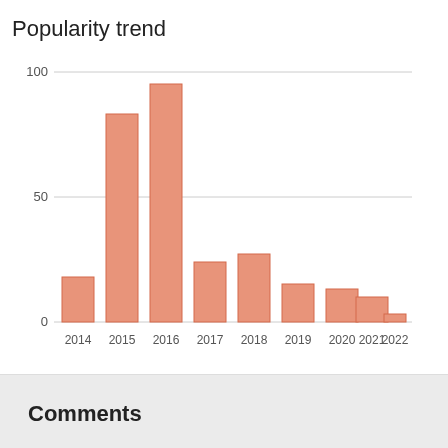[Figure (bar-chart): Popularity trend]
Comments